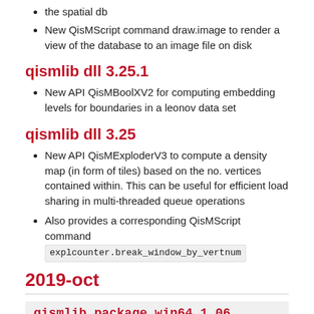the spatial db
New QisMScript command draw.image to render a view of the database to an image file on disk
qismlib dll 3.25.1
New API QisMBoolXV2 for computing embedding levels for boundaries in a leonov data set
qismlib dll 3.25
New API QisMExploderV3 to compute a density map (in form of tiles) based on the no. vertices contained within. This can be useful for efficient load sharing in multi-threaded queue operations
Also provides a corresponding QisMScript command explcounter.break_window_by_vertnum
2019-oct
qismlib package win64 1.06
qismrtcr dll 1.2
QisMScript command rtcr.create_rasterizer has been updated